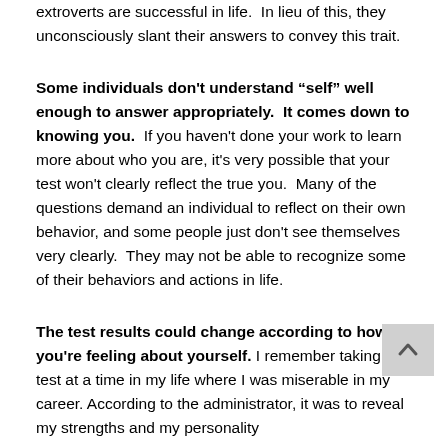extroverts are successful in life.  In lieu of this, they unconsciously slant their answers to convey this trait.
Some individuals don't understand “self” well enough to answer appropriately.  It comes down to knowing you.  If you haven't done your work to learn more about who you are, it's very possible that your test won't clearly reflect the true you.  Many of the questions demand an individual to reflect on their own behavior, and some people just don't see themselves very clearly.  They may not be able to recognize some of their behaviors and actions in life.
The test results could change according to how you're feeling about yourself. I remember taking a test at a time in my life where I was miserable in my career. According to the administrator, it was to reveal my strengths and my personality